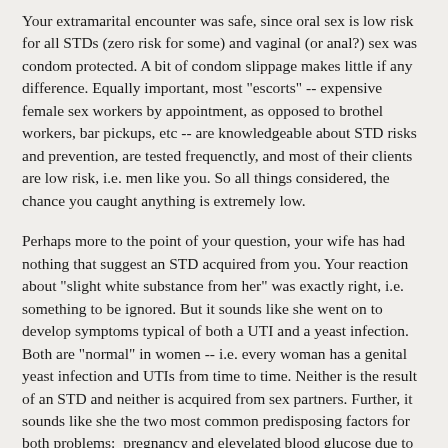Your extramarital encounter was safe, since oral sex is low risk for all STDs (zero risk for some) and vaginal (or anal?) sex was condom protected. A bit of condom slippage makes little if any difference. Equally important, most "escorts" -- expensive female sex workers by appointment, as opposed to brothel workers, bar pickups, etc -- are knowledgeable about STD risks and prevention, are tested frequenctly, and most of their clients are low risk, i.e. men like you. So all things considered, the chance you caught anything is extremely low.
Perhaps more to the point of your question, your wife has had nothing that suggest an STD acquired from you. Your reaction about "slight white substance from her" was exactly right, i.e. something to be ignored. But it sounds like she went on to develop symptoms typical of both a UTI and a yeast infection. Both are "normal" in women -- i.e. every woman has a genital yeast infection and UTIs from time to time. Neither is the result of an STD and neither is acquired from sex partners. Further, it sounds like she the two most common predisposing factors for both problems:  pregnancy and elevelated blood glucose due to diabetes (or pre-diabetes). And UTI and vaginal yeast infections are easy, everyday diagnoses; her doctor is unlikely to have mistaken an STD for either problem.
As for the coincidence in timing with your escort adventure,